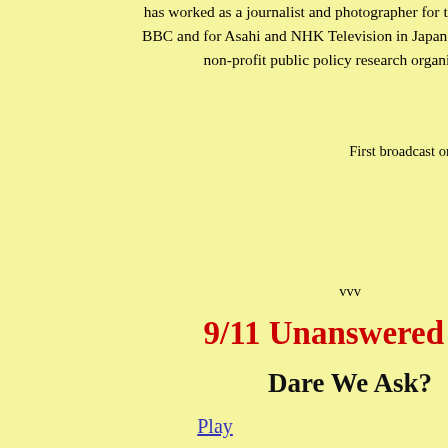has worked as a journalist and photographer for the Oakland Tribune, BBC and for Asahi and NHK Television in Japan. He is currently a non-profit public policy research organization l…
First broadcast on WPKN 89.5 FM, Bridgeport, CT and W
October 7, 2007.
Duration approx. 29 mi
vvv
9/11 Unanswered Qu
Dare We Ask?
Play
In a special one hour premier edition of History Counts, we discus… Professor David Ray Griffin, the leading i…
The terrorist attacks on the World Trade Center and the Pentagon a… global war on terror. Yet the official sources have yet to produce co… out the attacks. In our discussion with Professor Griffin, we consi… Pentagon and why the United States Air Force failed to intercept